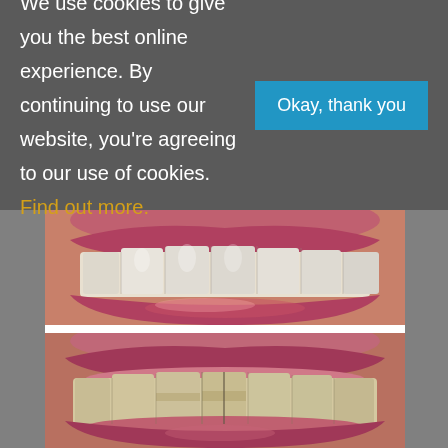We use cookies to give you the best online experience. By continuing to use our website, you're agreeing to our use of cookies. Find out more.
[Figure (photo): Close-up photo of a person's smile showing upper and lower teeth with healthy white teeth and pink gums - before/after dental treatment top image]
[Figure (photo): Close-up photo of a person's smile showing upper and lower teeth with yellowish/worn teeth - before/after dental treatment bottom image]